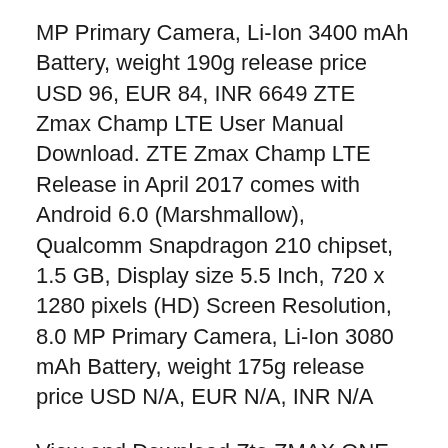MP Primary Camera, Li-Ion 3400 mAh Battery, weight 190g release price USD 96, EUR 84, INR 6649 ZTE Zmax Champ LTE User Manual Download. ZTE Zmax Champ LTE Release in April 2017 comes with Android 6.0 (Marshmallow), Qualcomm Snapdragon 210 chipset, 1.5 GB, Display size 5.5 Inch, 720 x 1280 pixels (HD) Screen Resolution, 8.0 MP Primary Camera, Li-Ion 3080 mAh Battery, weight 175g release price USD N/A, EUR N/A, INR N/A
View and Download Zte ZMAX ONE user manual online. ZMAX ONE Cell Phone pdf manual download. Also for: Z719dl. The phone battery should have enough power for the phone to turn on, find a